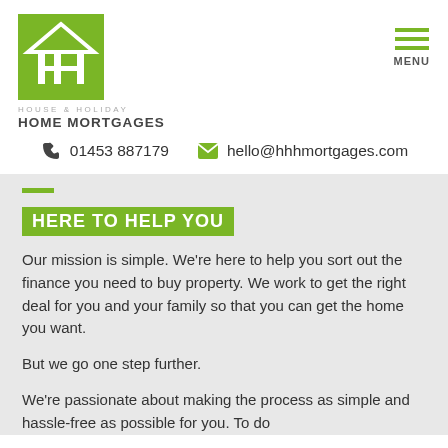[Figure (logo): House & Holiday Home Mortgages logo — green square with white house/HHH icon]
HOUSE & HOLIDAY HOME MORTGAGES
MENU
01453 887179    hello@hhhmortgages.com
HERE TO HELP YOU
Our mission is simple. We're here to help you sort out the finance you need to buy property. We work to get the right deal for you and your family so that you can get the home you want.
But we go one step further.
We're passionate about making the process as simple and hassle-free as possible for you. To do